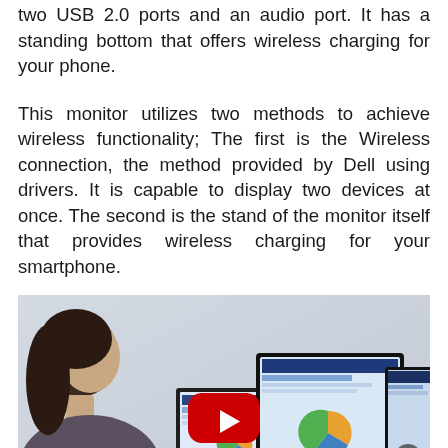two USB 2.0 ports and an audio port. It has a standing bottom that offers wireless charging for your phone.
This monitor utilizes two methods to achieve wireless functionality; The first is the Wireless connection, the method provided by Dell using drivers. It is capable to display two devices at once. The second is the stand of the monitor itself that provides wireless charging for your smartphone.
[Figure (photo): A woman looks at a laptop and external Dell monitor on a desk. A YouTube play button overlay is visible in the center of the image, indicating an embedded video. A second monitor is partially visible on the right.]